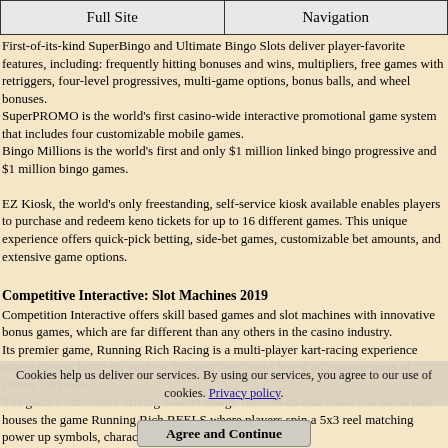| Full Site | Navigation |
| --- | --- |
First-of-its-kind SuperBingo and Ultimate Bingo Slots deliver player-favorite features, including: frequently hitting bonuses and wins, multipliers, free games with retriggers, four-level progressives, multi-game options, bonus balls, and wheel bonuses.
SuperPROMO is the world's first casino-wide interactive promotional game system that includes four customizable mobile games.
Bingo Millions is the world's first and only $1 million linked bingo progressive and $1 million bingo games.
EZ Kiosk, the world's only freestanding, self-service kiosk available enables players to purchase and redeem keno tickets for up to 16 different games. This unique experience offers quick-pick betting, side-bet games, customizable bet amounts, and extensive game options.
Competitive Interactive: Slot Machines 2019
Competition Interactive offers skill based games and slot machines with innovative bonus games, which are far different than any others in the casino industry.
Its premier game, Running Rich Racing is a multi-player kart-racing experience where players battle for cash on different race tracks based on modern spins of classic fairytales.
The game's innovative driving cabinet design features an attachable rear kiosk that houses the game Running Rich REELS where players spin a 5x3 reel matching power up symbols, characters and cars with exciting
Cookies help us deliver our services. By using our services, you agree to our use of cookies. Privacy policy.
Agree and Continue